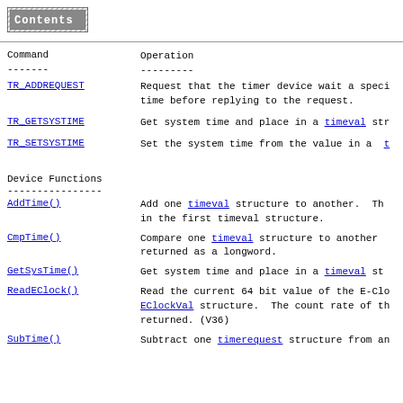[Figure (other): Contents button/icon with hatched background]
| Command | Operation |
| --- | --- |
| TR_ADDREQUEST | Request that the timer device wait a specified time before replying to the request. |
| TR_GETSYSTIME | Get system time and place in a timeval structure. |
| TR_SETSYSTIME | Set the system time from the value in a timeval structure. |
Device Functions
| Function | Operation |
| --- | --- |
| AddTime() | Add one timeval structure to another. The result is placed in the first timeval structure. |
| CmpTime() | Compare one timeval structure to another. The result is returned as a longword. |
| GetSysTime() | Get system time and place in a timeval structure. |
| ReadEClock() | Read the current 64 bit value of the E-Clock and place it in an EClockVal structure. The count rate of the E-Clock is also returned. (V36) |
| SubTime() | Subtract one timerequest structure from another. |